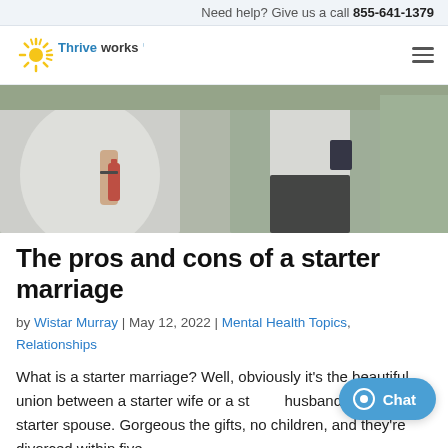Need help? Give us a call 855-641-1379
[Figure (logo): Thriveworks logo with sunburst icon and brand name in blue]
[Figure (photo): Two people at a wedding, one in a white dress holding a red bottle, another in a white shirt, outdoor setting]
The pros and cons of a starter marriage
by Wistar Murray | May 12, 2022 | Mental Health Topics, Relationships
What is a starter marriage? Well, obviously it's the beautiful union between a starter wife or a starter husband and their starter spouse. Gorgeous the gifts, no children, and they're divorced within five